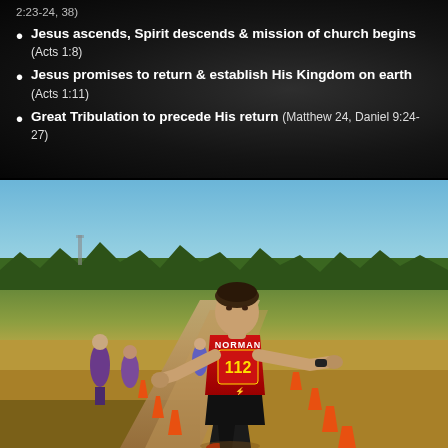2:23-24, 38)
Jesus ascends, Spirit descends & mission of church begins (Acts 1:8)
Jesus promises to return & establish His Kingdom on earth (Acts 1:11)
Great Tribulation to precede His return (Matthew 24, Daniel 9:24-27)
[Figure (photo): A cross country runner wearing a black and red Norman jersey numbered 112, running with arms outstretched on a dirt path marked with orange cones. Other runners in purple uniforms visible in background along with trees and open field under blue sky.]